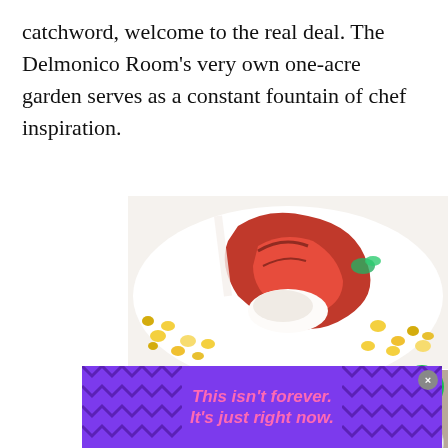catchword, welcome to the real deal. The Delmonico Room's very own one-acre garden serves as a constant fountain of chef inspiration.
[Figure (photo): Close-up food photography of a grilled or roasted lobster claw on a white plate with corn kernels scattered around it.]
[Figure (photo): Interior photo of a hotel or resort room with beige/tan decor, large windows with curtains, seating area and bed visible.]
[Figure (infographic): What's Next promotional widget showing a thumbnail image and text reading 'Gourmet Getaways:...' with an arrow.]
[Figure (photo): Purple advertisement banner with pink italic text reading 'This isn't forever. It's just right now.' with decorative zigzag lines.]